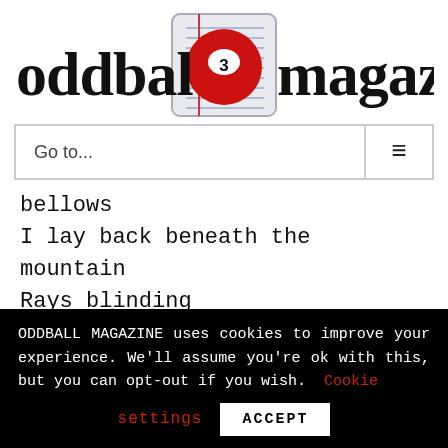[Figure (logo): Oddball Magazine logo with red billiard ball number 3 replacing the letter 'l' in 'oddball', bold serif/condensed logotype text]
[Figure (screenshot): Navigation bar with 'Go to...' text on left and hamburger menu icon on right, bordered box]
bellows
I lay back beneath the mountain
Rays blinding
Reflection in the screen
ODDBALL MAGAZINE uses cookies to improve your experience. We'll assume you're ok with this, but you can opt-out if you wish. Cookie settings ACCEPT